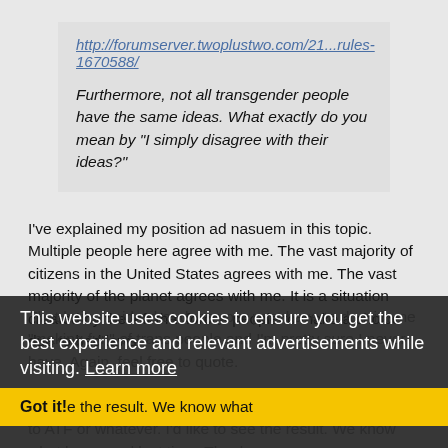http://forumserver.twoplustwo.com/21...rules-1670588/
Furthermore, not all transgender people have the same ideas. What exactly do you mean by "I simply disagree with their ideas?"
I've explained my position ad nasuem in this topic. Multiple people here agree with me. The vast majority of citizens in the United States agrees with me. The vast majority of the planet agrees with me. It is a situation created by the left that forces people to make a choice due to bad laws.
That being said, what does your post have to do with me "making fun" of trans people and I'm pretty sure I never have. Again, feel free to quote.
And one last thing, feel free to report my posts or bring it to ATF or whatever. I'd like to see the result. We know what happened last time. Thanks.
This website uses cookies to ensure you get the best experience and relevant advertisements while visiting. Learn more   Got it!